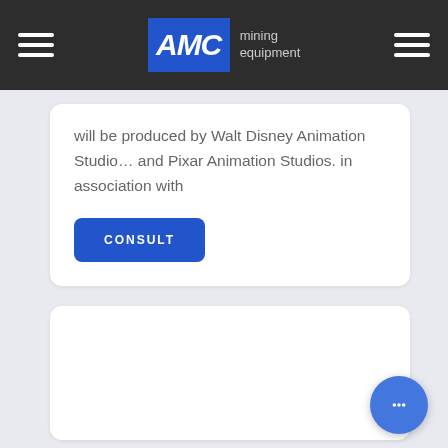AMC mining equipment
will be produced by Walt Disney Animation Studio… and Pixar Animation Studios. in association with
CONSULT
[Figure (other): Empty white card section below the consult button]